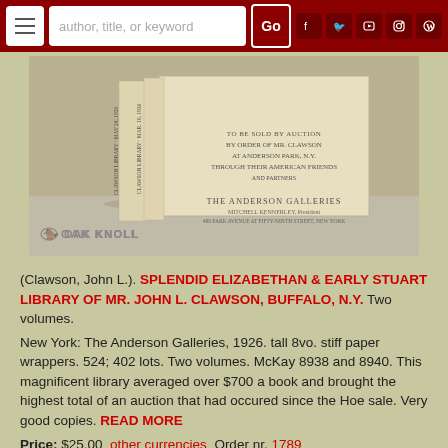[Figure (screenshot): Navigation bar with hamburger menu, search box with placeholder 'author, title, or keyword', Go button, and social media icons (Facebook, Twitter, YouTube, Instagram, WordPress) on dark red background]
[Figure (photo): Two volumes of The Clawson Library auction catalog standing upright, showing spines and front cover with Anderson Galleries imprint, on gray background with Oak Knoll watermark logo]
(Clawson, John L.). SPLENDID ELIZABETHAN & EARLY STUART LIBRARY OF MR. JOHN L. CLAWSON, BUFFALO, N.Y. Two volumes.
New York: The Anderson Galleries, 1926. tall 8vo. stiff paper wrappers. 524; 402 lots. Two volumes. McKay 8938 and 8940. This magnificent library averaged over $700 a book and brought the highest total of an auction that had occured since the Hoe sale. Very good copies. READ MORE
Price: $25.00  other currencies  Order nr. 1789